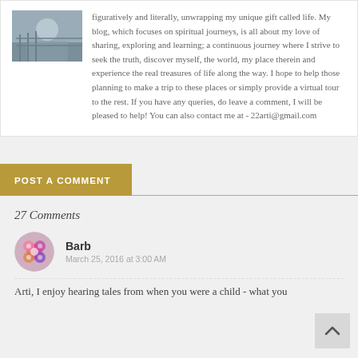[Figure (photo): Small photo of a person near a fence or railing, likely outdoors]
figuratively and literally, unwrapping my unique gift called life. My blog, which focuses on spiritual journeys, is all about my love of sharing, exploring and learning; a continuous journey where I strive to seek the truth, discover myself, the world, my place therein and experience the real treasures of life along the way. I hope to help those planning to make a trip to these places or simply provide a virtual tour to the rest. If you have any queries, do leave a comment, I will be pleased to help! You can also contact me at - 22arti@gmail.com
POST A COMMENT
27 Comments
[Figure (photo): Round avatar photo of commenter Barb showing colorful flowers]
Barb
March 25, 2016 at 3:00 AM
Arti, I enjoy hearing tales from when you were a child - what you